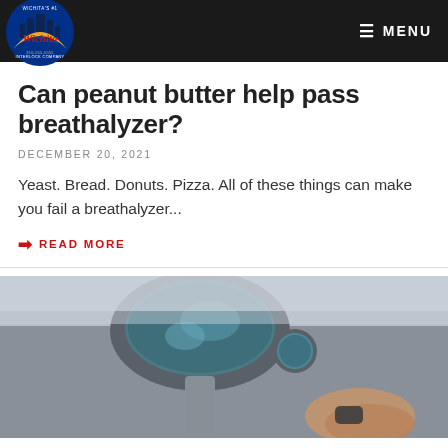Wichita Interlock Company — MENU
Can peanut butter help pass breathalyzer?
DECEMBER 20, 2021
Yeast. Bread. Donuts. Pizza. All of these things can make you fail a breathalyzer...
READ MORE
[Figure (photo): Close-up photo of a person's hand holding car keys near a car door mirror]